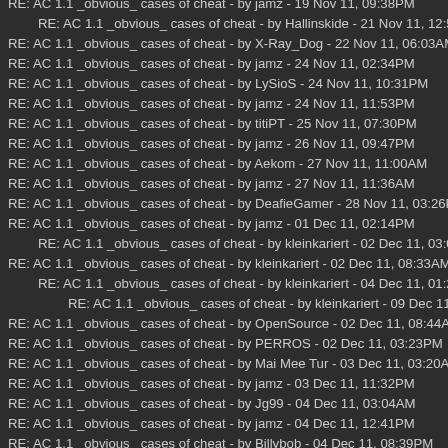RE: AC 1.1 _obvious_ cases of cheat - by jamz - 19 Nov 11, 09:38PM
RE: AC 1.1 _obvious_ cases of cheat - by Hallinskide - 21 Nov 11, 12:53AM
RE: AC 1.1 _obvious_ cases of cheat - by X-Ray_Dog - 22 Nov 11, 06:03AM
RE: AC 1.1 _obvious_ cases of cheat - by jamz - 24 Nov 11, 02:34PM
RE: AC 1.1 _obvious_ cases of cheat - by LySioS - 24 Nov 11, 10:31PM
RE: AC 1.1 _obvious_ cases of cheat - by jamz - 24 Nov 11, 11:53PM
RE: AC 1.1 _obvious_ cases of cheat - by titiPT - 25 Nov 11, 07:30PM
RE: AC 1.1 _obvious_ cases of cheat - by jamz - 26 Nov 11, 09:47PM
RE: AC 1.1 _obvious_ cases of cheat - by Aekom - 27 Nov 11, 11:00AM
RE: AC 1.1 _obvious_ cases of cheat - by jamz - 27 Nov 11, 11:36AM
RE: AC 1.1 _obvious_ cases of cheat - by DeafieGamer - 28 Nov 11, 03:26PM
RE: AC 1.1 _obvious_ cases of cheat - by jamz - 01 Dec 11, 02:14PM
RE: AC 1.1 _obvious_ cases of cheat - by kleinkariert - 02 Dec 11, 03:05AM
RE: AC 1.1 _obvious_ cases of cheat - by kleinkariert - 02 Dec 11, 08:33AM
RE: AC 1.1 _obvious_ cases of cheat - by kleinkariert - 04 Dec 11, 01:29PM
RE: AC 1.1 _obvious_ cases of cheat - by kleinkariert - 09 Dec 11, 02:12P
RE: AC 1.1 _obvious_ cases of cheat - by OpenSource - 02 Dec 11, 08:44AM
RE: AC 1.1 _obvious_ cases of cheat - by PERROS - 02 Dec 11, 03:23PM
RE: AC 1.1 _obvious_ cases of cheat - by Mai Mee Tur - 03 Dec 11, 03:20AM
RE: AC 1.1 _obvious_ cases of cheat - by jamz - 03 Dec 11, 11:32PM
RE: AC 1.1 _obvious_ cases of cheat - by Jg99 - 04 Dec 11, 03:04AM
RE: AC 1.1 _obvious_ cases of cheat - by jamz - 04 Dec 11, 12:41PM
RE: AC 1.1 _obvious_ cases of cheat - by Billybob - 04 Dec 11, 08:39PM
RE: AC 1.1 _obvious_ cases of cheat - by jamz - 04 Dec 11, 11:18PM